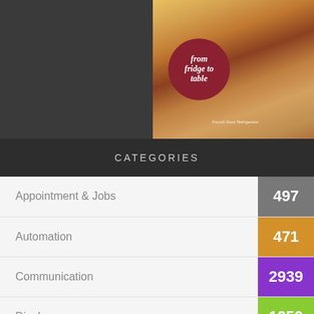[Figure (photo): Dark background with a product image on the right side showing kitchen/refrigerator scene with 'from fridge to table' text overlay on a red circle, French Door Refrigerator promotional image]
CATEGORIES
| Category | Count |
| --- | --- |
| Appointment & Jobs | 497 |
| Automation | 471 |
| Communication | 2939 |
| Display | 1259 |
| Hardware | 2090 |